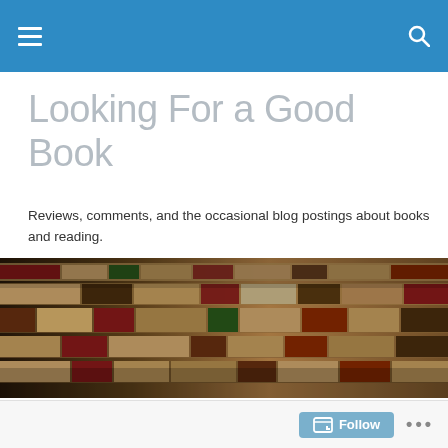Looking For a Good Book — navigation bar
Looking For a Good Book
Reviews, comments, and the occasional blog postings about books and reading.
[Figure (photo): A stack of books piled horizontally and vertically, with warm tones of tan, red, and green book spines visible, slightly blurred bokeh background.]
SIXTEENTH WATCH – Myke Cole
Follow  •••